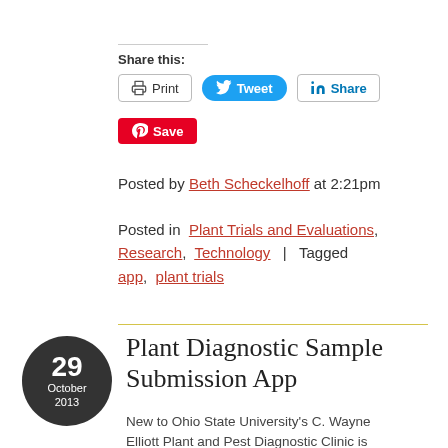Share this:
Print  Tweet  Share  Save
Posted by Beth Scheckelhoff at 2:21pm
Posted in  Plant Trials and Evaluations, Research,  Technology  |  Tagged  app,  plant trials
[Figure (other): Dark circle date badge showing 29 / October / 2013]
Plant Diagnostic Sample Submission App
New to Ohio State University's C. Wayne Elliott Plant and Pest Diagnostic Clinic is